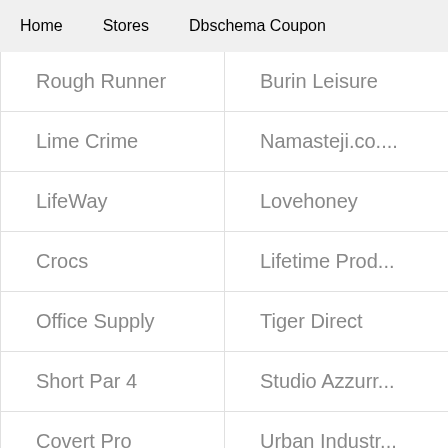Home   Stores   Dbschema Coupon
Rough Runner
Burin Leisure
Lime Crime
Namasteji.co....
LifeWay
Lovehoney
Crocs
Lifetime Prod...
Office Supply
Tiger Direct
Short Par 4
Studio Azzurr...
Covert Pro
Urban Industr...
Foodydirect
Blizzard Enter...